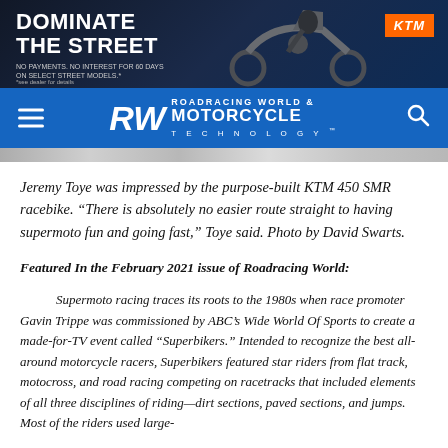[Figure (photo): KTM advertisement banner showing motorcycle rider with text 'DOMINATE THE STREET' and KTM orange logo. Fine print about no payments, no interest for 60 days on select street models.]
RW ROADRACING WORLD & MOTORCYCLE TECHNOLOGY
Jeremy Toye was impressed by the purpose-built KTM 450 SMR racebike. “There is absolutely no easier route straight to having supermoto fun and going fast,” Toye said. Photo by David Swarts.
Featured In the February 2021 issue of Roadracing World:
Supermoto racing traces its roots to the 1980s when race promoter Gavin Trippe was commissioned by ABC’s Wide World Of Sports to create a made-for-TV event called “Superbikers.” Intended to recognize the best all-around motorcycle racers, Superbikers featured star riders from flat track, motocross, and road racing competing on racetracks that included elements of all three disciplines of riding—dirt sections, paved sections, and jumps. Most of the riders used large-